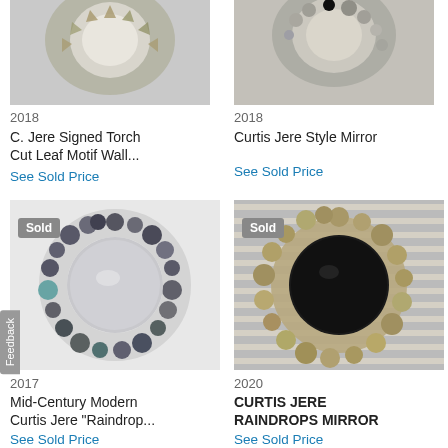[Figure (photo): Partial top view of C. Jere Signed Torch Cut Leaf Motif Wall mirror with metallic leaf details, top portion cropped]
[Figure (photo): Partial top view of Curtis Jere Style Mirror with stone/shell mosaic frame, top portion cropped]
2018
C. Jere Signed Torch Cut Leaf Motif Wall...
See Sold Price
2018
Curtis Jere Style Mirror
See Sold Price
[Figure (photo): Mid-Century Modern Curtis Jere Raindrops mirror with circular frame decorated with multicolored disc/pebble shapes, Sold badge visible]
[Figure (photo): Curtis Jere Raindrops Mirror with circular black mirror center surrounded by golden/bronze disc shapes on slatted background, Sold badge visible]
2017
Mid-Century Modern Curtis Jere "Raindrop...
See Sold Price
2020
CURTIS JERE RAINDROPS MIRROR
See Sold Price